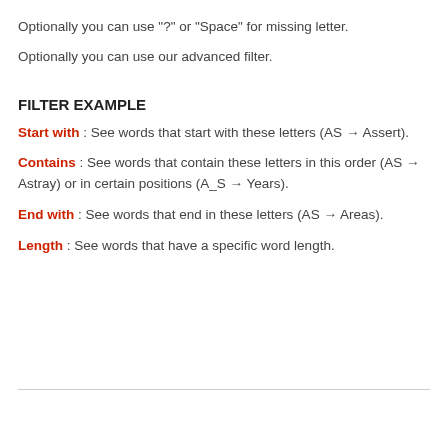Optionally you can use "?" or "Space" for missing letter.
Optionally you can use our advanced filter.
FILTER EXAMPLE
Start with : See words that start with these letters (AS → Assert).
Contains : See words that contain these letters in this order (AS → Astray) or in certain positions (A_S → Years).
End with : See words that end in these letters (AS → Areas).
Length : See words that have a specific word length.